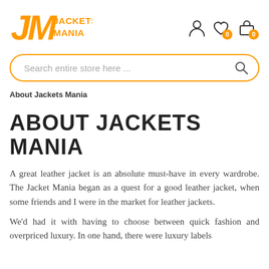[Figure (logo): Jackets Mania logo in orange with stylized JM letters and text JACKETS MANIA]
[Figure (infographic): Header icons: user account icon, heart/wishlist icon with orange badge showing 0, shopping bag icon with orange badge showing 0]
[Figure (infographic): Search bar with rounded orange border, placeholder text 'Search entire store here ...' and magnifying glass icon]
About Jackets Mania
ABOUT JACKETS MANIA
A great leather jacket is an absolute must-have in every wardrobe. The Jacket Mania began as a quest for a good leather jacket, when some friends and I were in the market for leather jackets.
We'd had it with having to choose between quick fashion and overpriced luxury. In one hand, there were luxury labels